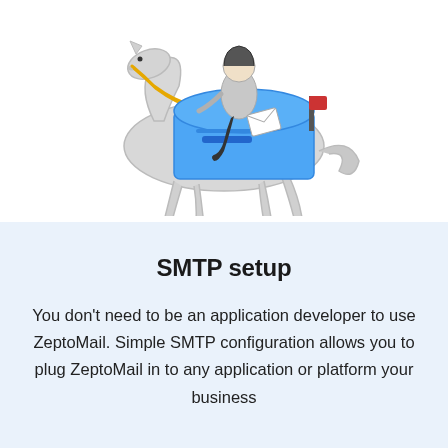[Figure (illustration): Illustration of a horse with a rider jumping over a blue mailbox, styled as a cartoon/icon. The horse is white/grey with yellow reins, the rider wears grey, and the mailbox is bright blue. The scene suggests fast mail delivery.]
SMTP setup
You don't need to be an application developer to use ZeptoMail. Simple SMTP configuration allows you to plug ZeptoMail in to any application or platform your business